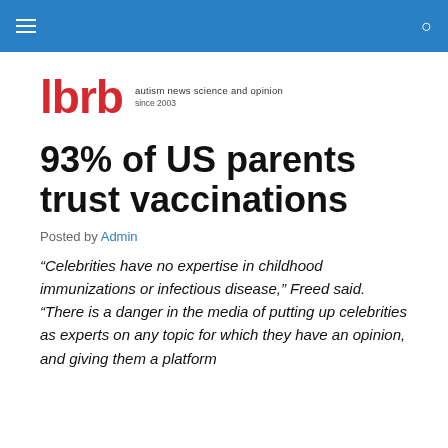lbrb – autism news science and opinion since 2003
[Figure (logo): lbrb logo in red with tagline 'autism news science and opinion since 2003']
93% of US parents trust vaccinations
Posted by Admin
“Celebrities have no expertise in childhood immunizations or infectious disease,” Freed said. “There is a danger in the media of putting up celebrities as experts on any topic for which they have an opinion, and giving them a platform